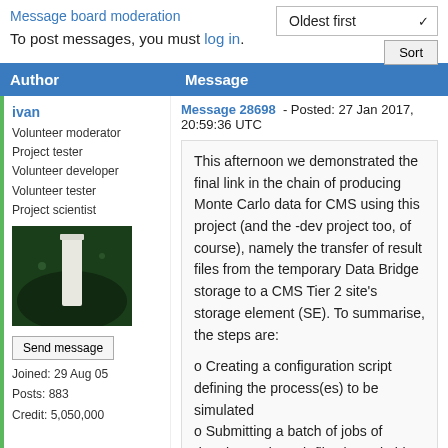Message board moderation
To post messages, you must log in.
| Author | Message |
| --- | --- |
| ivan
Volunteer moderator
Project tester
Volunteer developer
Volunteer tester
Project scientist
[photo]
Send message
Joined: 29 Aug 05
Posts: 883
Credit: 5,050,000 | Message 28698 - Posted: 27 Jan 2017, 20:59:36 UTC

This afternoon we demonstrated the final link in the chain of producing Monte Carlo data for CMS using this project (and the -dev project too, of course), namely the transfer of result files from the temporary Data Bridge storage to a CMS Tier 2 site's storage element (SE). To summarise, the steps are:

o Creating a configuration script defining the process(es) to be simulated
o Submitting a batch of jobs of duration and result-file size suitable for running |